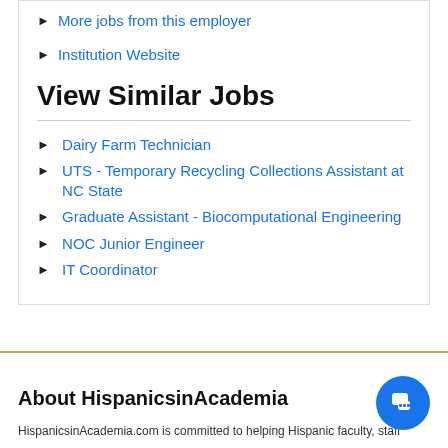More jobs from this employer
Institution Website
View Similar Jobs
Dairy Farm Technician
UTS - Temporary Recycling Collections Assistant at NC State
Graduate Assistant - Biocomputational Engineering
NOC Junior Engineer
IT Coordinator
About HispanicsinAcademia
HispanicsinAcademia.com is committed to helping Hispanic faculty, staff